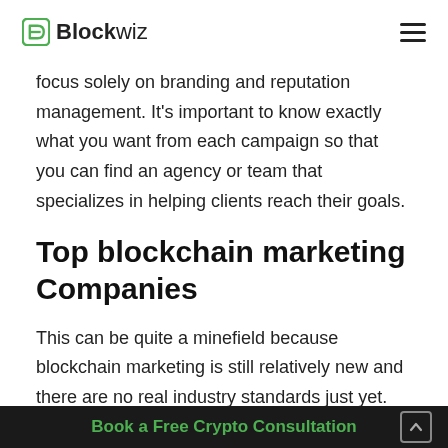Blockwiz
focus solely on branding and reputation management. It’s important to know exactly what you want from each campaign so that you can find an agency or team that specializes in helping clients reach their goals.
Top blockchain marketing Companies
This can be quite a minefield because blockchain marketing is still relatively new and there are no real industry standards just yet. Start by doing your
Book a Free Crypto Consultation